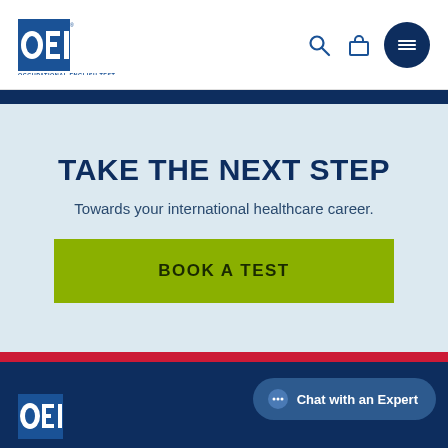OET — Occupational English Test — navigation header with logo, search, cart, and menu icons
TAKE THE NEXT STEP
Towards your international healthcare career.
BOOK A TEST
[Figure (screenshot): Chat with an Expert button widget in bottom-right corner]
OET footer with dark navy background and partial OET logo